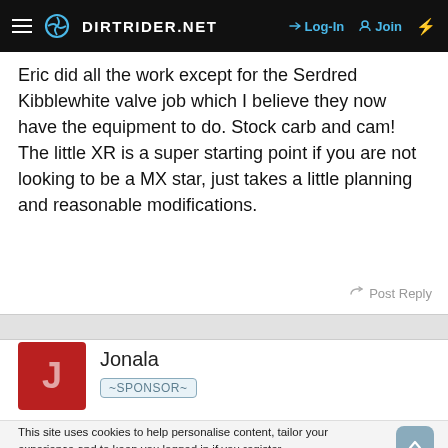DIRTRIDER.NET — Log-In | Join
Eric did all the work except for the Serdred Kibblewhite valve job which I believe they now have the equipment to do. Stock carb and cam! The little XR is a super starting point if you are not looking to be a MX star, just takes a little planning and reasonable modifications.
Post Reply
Jonala ~SPONSOR~
This site uses cookies to help personalise content, tailor your experience and to keep you logged in if you register.
By continuing to use this site, you are consenting to our use of cookies.
✓ Accept   Learn more...